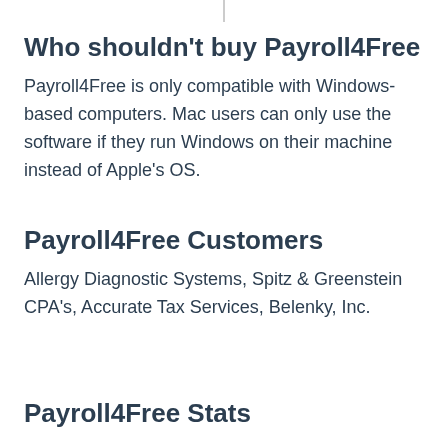Who shouldn't buy Payroll4Free
Payroll4Free is only compatible with Windows-based computers. Mac users can only use the software if they run Windows on their machine instead of Apple's OS.
Payroll4Free Customers
Allergy Diagnostic Systems, Spitz & Greenstein CPA's, Accurate Tax Services, Belenky, Inc.
Payroll4Free Stats